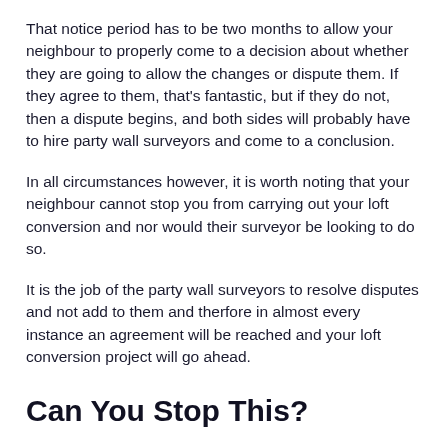That notice period has to be two months to allow your neighbour to properly come to a decision about whether they are going to allow the changes or dispute them. If they agree to them, that's fantastic, but if they do not, then a dispute begins, and both sides will probably have to hire party wall surveyors and come to a conclusion.
In all circumstances however, it is worth noting that your neighbour cannot stop you from carrying out your loft conversion and nor would their surveyor be looking to do so.
It is the job of the party wall surveyors to resolve disputes and not add to them and therfore in almost every instance an agreement will be reached and your loft conversion project will go ahead.
Can You Stop This?